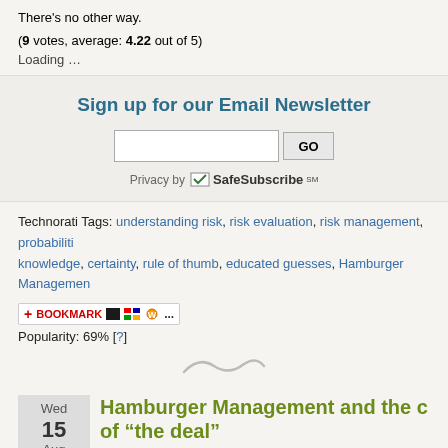There's no other way.
(9 votes, average: 4.22 out of 5)
Loading …
Sign up for our Email Newsletter
Privacy by SafeSubscribeSM
Technorati Tags: understanding risk, risk evaluation, risk management, probabiliti knowledge, certainty, rule of thumb, educated guesses, Hamburger Management
[Figure (other): Bookmark bar with icons and text BOOKMARK]
Popularity: 69% [?]
[Figure (other): Decorative swirl/wave divider]
Wed 15 Aug
Hamburger Management and the ... of "the deal"